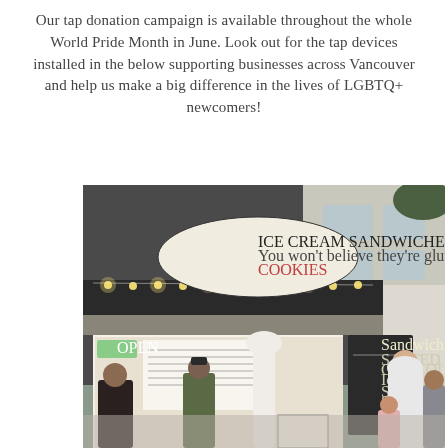Our tap donation campaign is available throughout the whole World Pride Month in June. Look out for the tap devices installed in the below supporting businesses across Vancouver and help us make a big difference in the lives of LGBTQ+ newcomers!
[Figure (photo): Exterior photo of an ice cream sandwich shop storefront at dusk. The shop has a large oval sign reading 'ICE CREAM SANDWICHES' with smaller text underneath. String lights hang across the front of the dark-colored building. An OPEN sign is visible in the window. Several people are standing outside, and there is a large white spoon sculpture in front of the shop. An adjacent white building is visible to the right.]